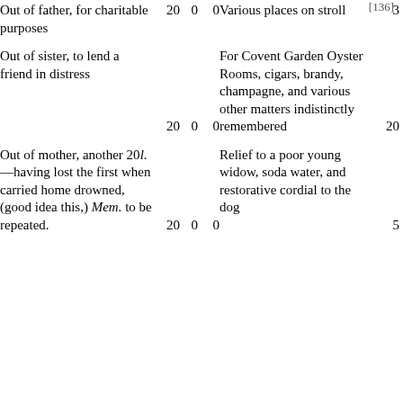[136]
| Description (debit) | £ | s | d | Description (credit) | £ | s | d |
| --- | --- | --- | --- | --- | --- | --- | --- |
| Out of father, for charitable purposes | 20 | 0 | 0 | Various places on stroll | 3 | 0 | 0 |
| Out of sister, to lend a friend in distress | 20 | 0 | 0 | For Covent Garden Oyster Rooms, cigars, brandy, champagne, and various other matters indistinctly remembered | 20 | 0 | 0 |
| Out of mother, another 20l.—having lost the first when carried home drowned, (good idea this,) Mem. to be repeated. | 20 | 0 | 0 | Relief to a poor young widow, soda water, and restorative cordial to the dog | 5 | 0 | 0 |